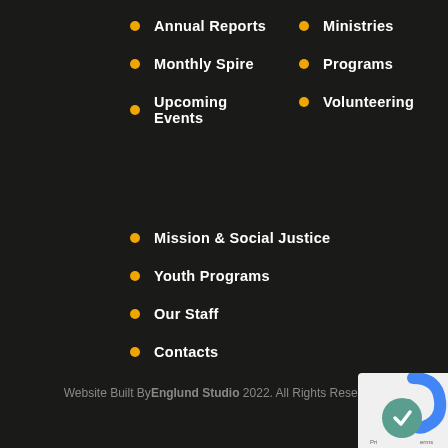Annual Reports
Ministries
Monthly Spire
Programs
Upcoming Events
Volunteering
Mission & Social Justice
Youth Programs
Our Staff
Contacts
Website Built By Englund Studio 2022. All Rights Reserved.